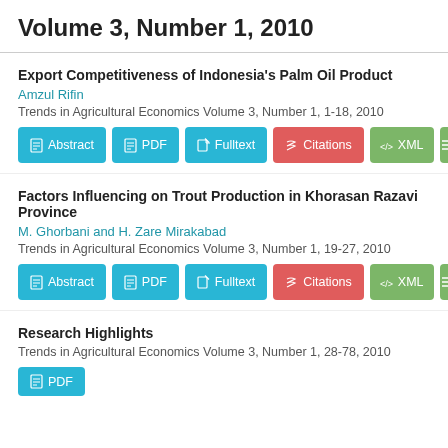Volume 3, Number 1, 2010
Export Competitiveness of Indonesia's Palm Oil Product
Amzul Rifin
Trends in Agricultural Economics Volume 3, Number 1, 1-18, 2010
Factors Influencing on Trout Production in Khorasan Razavi Province
M. Ghorbani and H. Zare Mirakabad
Trends in Agricultural Economics Volume 3, Number 1, 19-27, 2010
Research Highlights
Trends in Agricultural Economics Volume 3, Number 1, 28-78, 2010